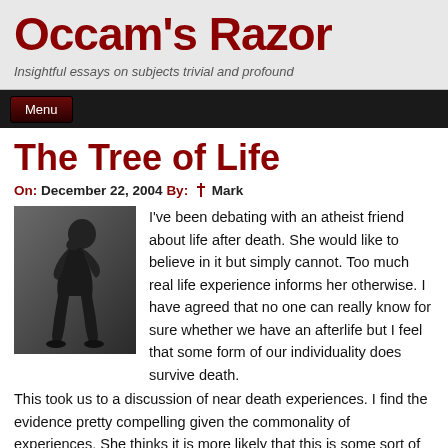Occam's Razor
Insightful essays on subjects trivial and profound
Menu
The Tree of Life
On: December 22, 2004 By: ✝ Mark
[Figure (photo): Black and white photo of a person in a contemplative pose, similar to The Thinker sculpture]
I've been debating with an atheist friend about life after death. She would like to believe in it but simply cannot. Too much real life experience informs her otherwise. I have agreed that no one can really know for sure whether we have an afterlife but I feel that some form of our individuality does survive death. This took us to a discussion of near death experiences. I find the evidence pretty compelling given the commonality of experiences. She thinks it is more likely that this is some sort of